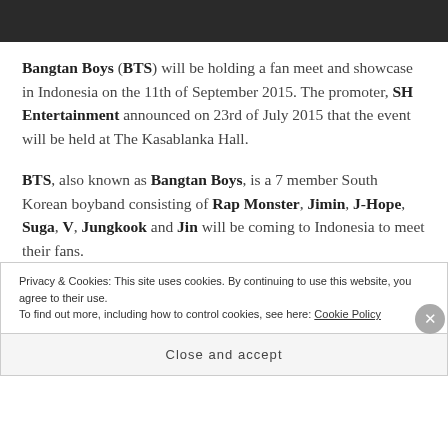[Figure (photo): Black and white photo strip at top of page]
Bangtan Boys (BTS) will be holding a fan meet and showcase in Indonesia on the 11th of September 2015. The promoter, SH Entertainment announced on 23rd of July 2015 that the event will be held at The Kasablanka Hall.
BTS, also known as Bangtan Boys, is a 7 member South Korean boyband consisting of Rap Monster, Jimin, J-Hope, Suga, V, Jungkook and Jin will be coming to Indonesia to meet their fans.
Privacy & Cookies: This site uses cookies. By continuing to use this website, you agree to their use. To find out more, including how to control cookies, see here: Cookie Policy
Close and accept